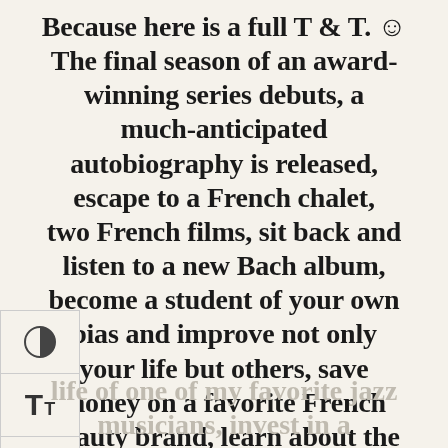Because here is a full T & T. ☺ The final season of an award-winning series debuts, a much-anticipated autobiography is released, escape to a French chalet, two French films, sit back and listen to a new Bach album, become a student of your own bias and improve not only your life but others, save money on a favorite French beauty brand, learn about the life of one of my favorite jazz musicians, invest in a